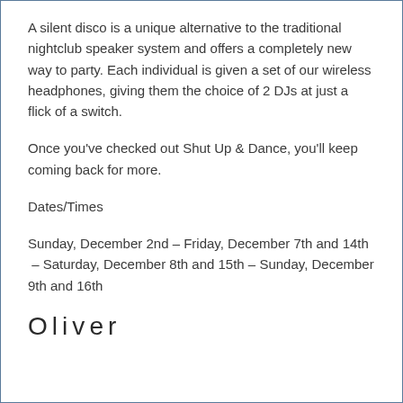A silent disco is a unique alternative to the traditional nightclub speaker system and offers a completely new way to party. Each individual is given a set of our wireless headphones, giving them the choice of 2 DJs at just a flick of a switch.
Once you've checked out Shut Up & Dance, you'll keep coming back for more.
Dates/Times
Sunday, December 2nd – Friday, December 7th and 14th  – Saturday, December 8th and 15th – Sunday, December 9th and 16th
Oliver